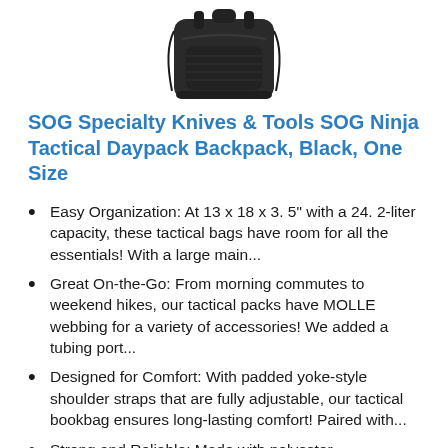[Figure (photo): Dark/black tactical backpack viewed from the front-top angle against white background]
SOG Specialty Knives & Tools SOG Ninja Tactical Daypack Backpack, Black, One Size
Easy Organization: At 13 x 18 x 3. 5” with a 24. 2-liter capacity, these tactical bags have room for all the essentials! With a large main...
Great On-the-Go: From morning commutes to weekend hikes, our tactical packs have MOLLE webbing for a variety of accessories! We added a tubing port...
Designed for Comfort: With padded yoke-style shoulder straps that are fully adjustable, our tactical bookbag ensures long-lasting comfort! Paired with...
Strong and Reliable: Made with polyester,